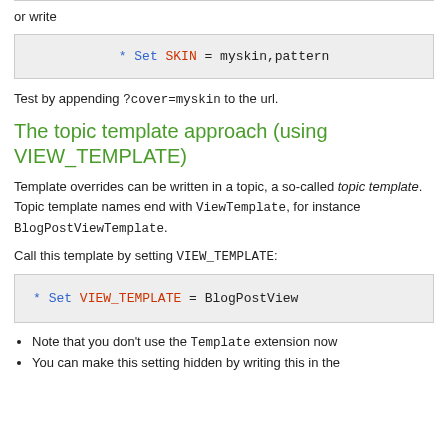or write
* Set SKIN = myskin,pattern
Test by appending ?cover=myskin to the url.
The topic template approach (using VIEW_TEMPLATE)
Template overrides can be written in a topic, a so-called topic template. Topic template names end with ViewTemplate, for instance BlogPostViewTemplate.
Call this template by setting VIEW_TEMPLATE:
* Set VIEW_TEMPLATE = BlogPostView
Note that you don't use the Template extension now
You can make this setting hidden by writing this in the